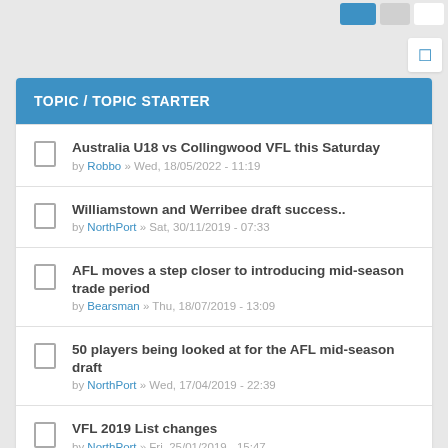TOPIC / TOPIC STARTER
Australia U18 vs Collingwood VFL this Saturday by Robbo » Wed, 18/05/2022 - 11:19
Williamstown and Werribee draft success.. by NorthPort » Sat, 30/11/2019 - 07:33
AFL moves a step closer to introducing mid-season trade period by Bearsman » Thu, 18/07/2019 - 13:09
50 players being looked at for the AFL mid-season draft by NorthPort » Wed, 17/04/2019 - 22:39
VFL 2019 List changes by NorthPort » Fri, 25/01/2019 - 15:47